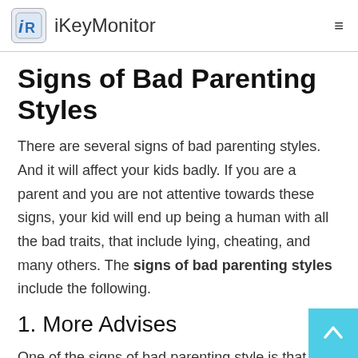iKeyMonitor
Signs of Bad Parenting Styles
There are several signs of bad parenting styles. And it will affect your kids badly. If you are a parent and you are not attentive towards these signs, your kid will end up being a human with all the bad traits, that include lying, cheating, and many others. The signs of bad parenting styles include the following.
1. More Advises
One of the signs of bad parenting style is that you are always giving them advice. You may think that the pieces of advice are going to save them. But you need to understand that your kid is not going better and achieve